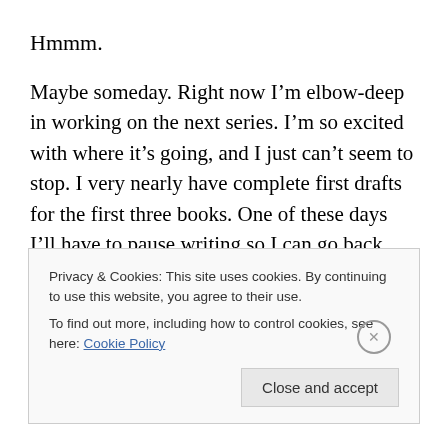Hmmm.
Maybe someday. Right now I’m elbow-deep in working on the next series. I’m so excited with where it’s going, and I just can’t seem to stop. I very nearly have complete first drafts for the first three books. One of these days I’ll have to pause writing so I can go back and start editing Book 1. That’s hard to do, though, because I’m enjoying writing them so much, and editing is such a chore. But, in the meantime…
Privacy & Cookies: This site uses cookies. By continuing to use this website, you agree to their use.
To find out more, including how to control cookies, see here: Cookie Policy